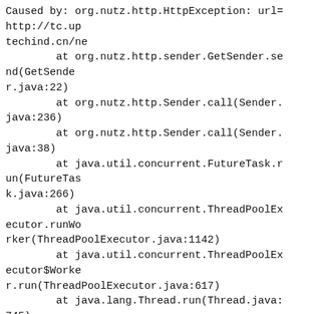Caused by: org.nutz.http.HttpException: url=http://tc.uptechind.cn/ne
        at org.nutz.http.sender.GetSender.send(GetSender.java:22)
        at org.nutz.http.Sender.call(Sender.java:236)
        at org.nutz.http.Sender.call(Sender.java:38)
        at java.util.concurrent.FutureTask.run(FutureTask.java:266)
        at java.util.concurrent.ThreadPoolExecutor.runWorker(ThreadPoolExecutor.java:1142)
        at java.util.concurrent.ThreadPoolExecutor$Worker.run(ThreadPoolExecutor.java:617)
        at java.lang.Thread.run(Thread.java:745)
Caused by: java.net.ConnectException: Connection timed out: connect
        at java.net.DualStackPlainSocketImpl.waitForConnect(Native Method)
        at java.net.DualStackPlainSocketImpl.socketConnect(DualStackPlainSocketImpl.java:85)
        at java.net.AbstractPlainSocketImpl.doConnect(Ab